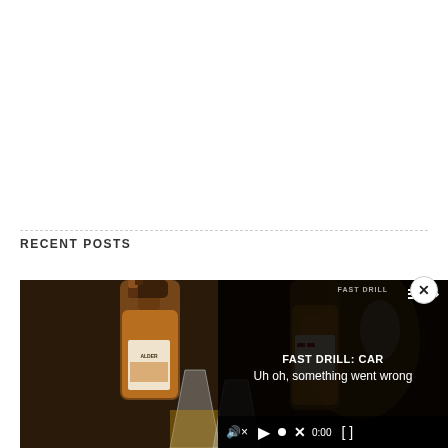RECENT POSTS
[Figure (photo): Photo of whiskey/scotch bottles on a bar or table, amber-colored spirits visible, glasses in foreground, blurred background]
[Figure (screenshot): Video player overlay showing 'FAST DRILL: CAR' title, error message 'Uh oh, something went wrong', video controls with play button, mute icon, progress bar, timestamp 0:00, fullscreen button, and a close (X) button]